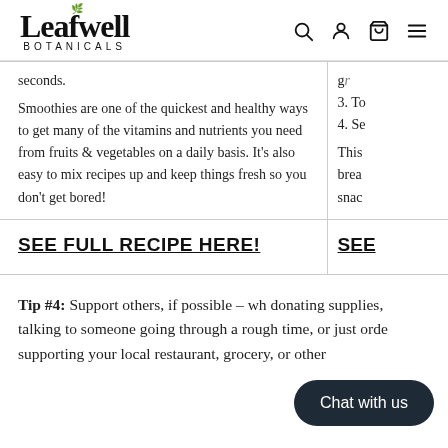Leafwell Botanicals
seconds.
Smoothies are one of the quickest and healthy ways to get many of the vitamins and nutrients you need from fruits & vegetables on a daily basis. It's also easy to mix recipes up and keep things fresh so you don't get bored!
gr
3. To
4. Se
This
breal
snacl
SEE FULL RECIPE HERE!
SEE
Tip #4: Support others, if possible – wh donating supplies, talking to someone going through a rough time, or just orde supporting your local restaurant, grocery, or other